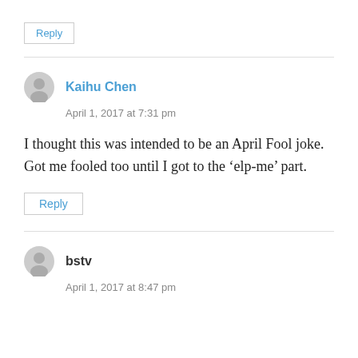Reply
Kaihu Chen
April 1, 2017 at 7:31 pm
I thought this was intended to be an April Fool joke. Got me fooled too until I got to the ‘elp-me’ part.
Reply
bstv
April 1, 2017 at 8:47 pm